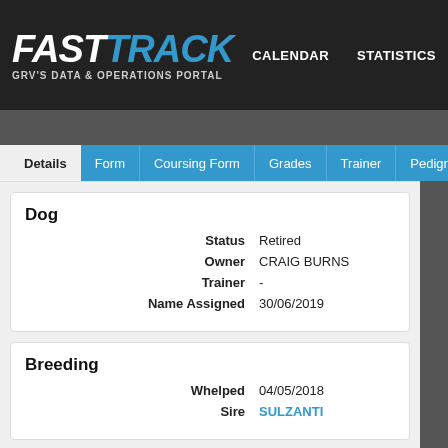FAST TRACK — GRV'S DATA & OPERATIONS PORTAL | CALENDAR | STATISTICS
Details | Form | Coursing Form | Grades | Trainer | Pedigree | S
Dog
Status: Retired
Owner: CRAIG BURNS
Trainer: -
Name Assigned: 30/06/2019
Breeding
Whelped: 04/05/2018
Sire: SULZANTI